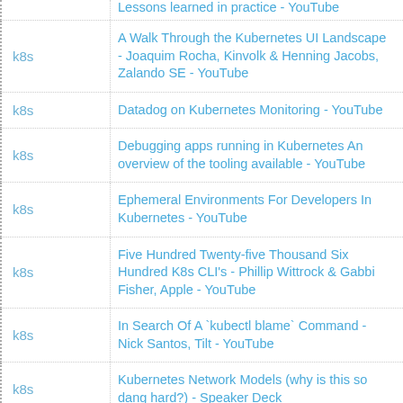k8s | Lessons learned in practice - YouTube (partial, top cut off)
k8s | A Walk Through the Kubernetes UI Landscape - Joaquim Rocha, Kinvolk & Henning Jacobs, Zalando SE - YouTube
k8s | Datadog on Kubernetes Monitoring - YouTube
k8s | Debugging apps running in Kubernetes An overview of the tooling available - YouTube
k8s | Ephemeral Environments For Developers In Kubernetes - YouTube
k8s | Five Hundred Twenty-five Thousand Six Hundred K8s CLI's - Phillip Wittrock & Gabbi Fisher, Apple - YouTube
k8s | In Search Of A `kubectl blame` Command - Nick Santos, Tilt - YouTube
k8s | Kubernetes Network Models (why is this so dang hard?) - Speaker Deck
k8s | Open Policy Agent: Unit Testing Gatekeeper Policies | Dustin Specker
k8s | Scaling Fleet and Kubernetes to a Million (partial, bottom cut off)